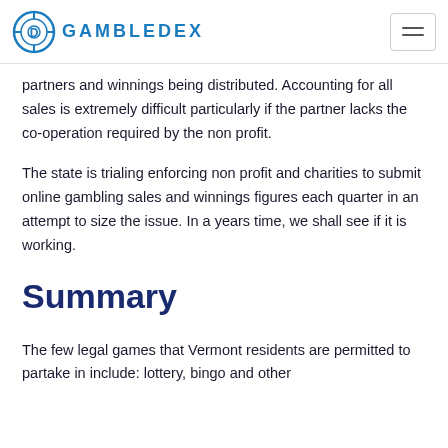GAMBLEDEX
partners and winnings being distributed. Accounting for all sales is extremely difficult particularly if the partner lacks the co-operation required by the non profit.
The state is trialing enforcing non profit and charities to submit online gambling sales and winnings figures each quarter in an attempt to size the issue. In a years time, we shall see if it is working.
Summary
The few legal games that Vermont residents are permitted to partake in include: lottery, bingo and other